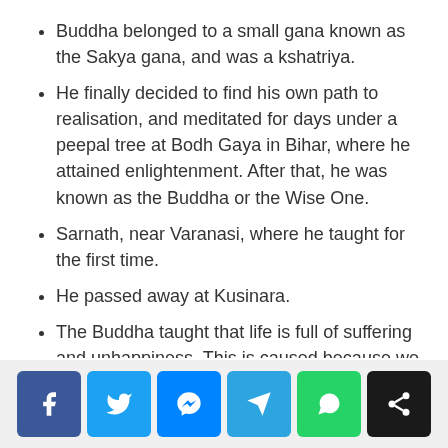Buddha belonged to a small gana known as the Sakya gana, and was a kshatriya.
He finally decided to find his own path to realisation, and meditated for days under a peepal tree at Bodh Gaya in Bihar, where he attained enlightenment. After that, he was known as the Buddha or the Wise One.
Sarnath, near Varanasi, where he taught for the first time.
He passed away at Kusinara.
The Buddha taught that life is full of suffering and unhappiness. This is caused because we have cravings and desires.
[Figure (infographic): Social media share bar with icons: Facebook (blue), Twitter (light blue), Messenger (blue), Telegram (teal), WhatsApp (green), Share (black)]